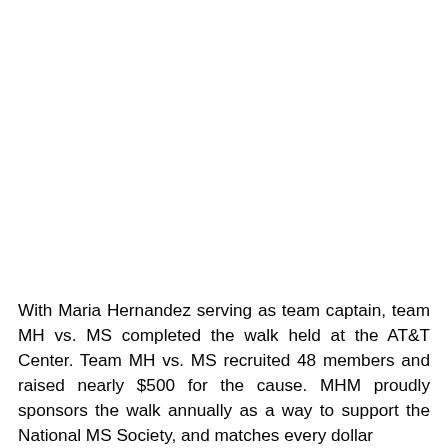With Maria Hernandez serving as team captain, team MH vs. MS completed the walk held at the AT&T Center. Team MH vs. MS recruited 48 members and raised nearly $500 for the cause. MHM proudly sponsors the walk annually as a way to support the National MS Society, and matches every dollar